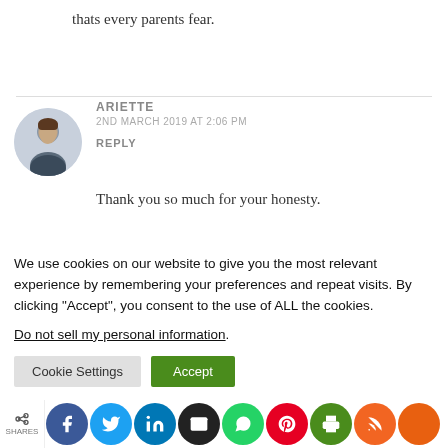thats every parents fear.
ARIETTE
2ND MARCH 2019 AT 2:06 PM
REPLY
Thank you so much for your honesty.
We use cookies on our website to give you the most relevant experience by remembering your preferences and repeat visits. By clicking “Accept”, you consent to the use of ALL the cookies.
Do not sell my personal information.
Cookie Settings
Accept
SHARES